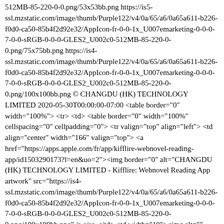512MB-85-220-0-0.png/53x53bb.png https://is5-ssl.mzstatic.com/image/thumb/Purple122/v4/0a/65/a6/0a65a611-b226-f0d0-ca50-85b4f2d92e32/AppIcon-fr-0-0-1x_U007emarketing-0-0-0-7-0-0-sRGB-0-0-0-GLES2_U002c0-512MB-85-220-0-0.png/75x75bb.png https://is4-ssl.mzstatic.com/image/thumb/Purple122/v4/0a/65/a6/0a65a611-b226-f0d0-ca50-85b4f2d92e32/AppIcon-fr-0-0-1x_U007emarketing-0-0-0-7-0-0-sRGB-0-0-0-GLES2_U002c0-512MB-85-220-0-0.png/100x100bb.png © CHANGDU (HK) TECHNOLOGY LIMITED 2020-05-30T00:00:00-07:00 <table border="0" width="100%"> <tr> <td> <table border="0" width="100%" cellspacing="0" cellpadding="0"> <tr valign="top" align="left"> <td align="center" width="166" valign="top"> <a href="https://apps.apple.com/fr/app/kifflire-webnovel-reading-app/id1503290173?l=en&uo=2"><img border="0" alt="CHANGDU (HK) TECHNOLOGY LIMITED - Kifflire: Webnovel Reading App artwork" src="https://is4-ssl.mzstatic.com/image/thumb/Purple122/v4/0a/65/a6/0a65a611-b226-f0d0-ca50-85b4f2d92e32/AppIcon-fr-0-0-1x_U007emarketing-0-0-0-7-0-0-sRGB-0-0-0-GLES2_U002c0-512MB-85-220-0-0.png/100x100bb.png" /></a> </td> <td width="10"><img alt="" width="10" height="1" src="http://r.mzstatic.com/images/spacer.gif" /></td> <td width="95%"> <b><a href="https://apps.apple.com/fr/app/kifflire-webnovel-reading-app/id1503290173?l=en&uo=2">Kifflire: